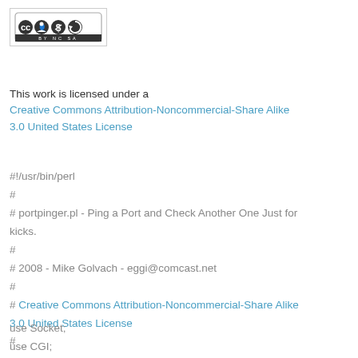[Figure (logo): Creative Commons BY-NC-SA license logo with cc, person, dollar-sign-circle, and share-alike icons in a rounded rectangle border]
This work is licensed under a Creative Commons Attribution-Noncommercial-Share Alike 3.0 United States License
#!/usr/bin/perl
#
# portpinger.pl - Ping a Port and Check Another One Just for kicks.
#
# 2008 - Mike Golvach - eggi@comcast.net
#
# Creative Commons Attribution-Noncommercial-Share Alike 3.0 United States License
#
use Socket;
use CGI;